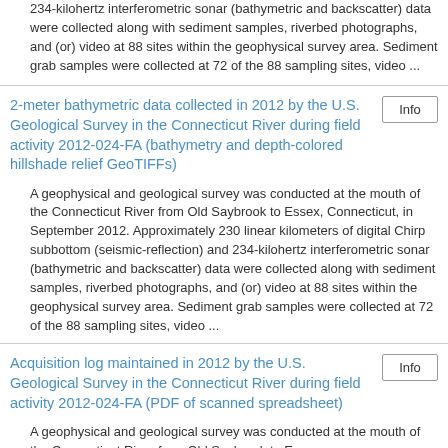234-kilohertz interferometric sonar (bathymetric and backscatter) data were collected along with sediment samples, riverbed photographs, and (or) video at 88 sites within the geophysical survey area. Sediment grab samples were collected at 72 of the 88 sampling sites, video ...
2-meter bathymetric data collected in 2012 by the U.S. Geological Survey in the Connecticut River during field activity 2012-024-FA (bathymetry and depth-colored hillshade relief GeoTIFFs)
A geophysical and geological survey was conducted at the mouth of the Connecticut River from Old Saybrook to Essex, Connecticut, in September 2012. Approximately 230 linear kilometers of digital Chirp subbottom (seismic-reflection) and 234-kilohertz interferometric sonar (bathymetric and backscatter) data were collected along with sediment samples, riverbed photographs, and (or) video at 88 sites within the geophysical survey area. Sediment grab samples were collected at 72 of the 88 sampling sites, video ...
Acquisition log maintained in 2012 by the U.S. Geological Survey in the Connecticut River during field activity 2012-024-FA (PDF of scanned spreadsheet)
A geophysical and geological survey was conducted at the mouth of the Connecticut River from Old Saybrook to Essex,